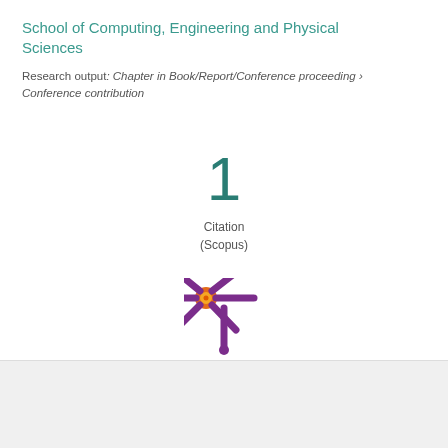School of Computing, Engineering and Physical Sciences
Research output: Chapter in Book/Report/Conference proceeding › Conference contribution
[Figure (infographic): Large teal numeral '1' with label 'Citation (Scopus)' below it, centered on the page]
[Figure (logo): Altmetric logo - orange bullseye circle with purple asterisk/snowflake shape]
Overview   Fingerprint